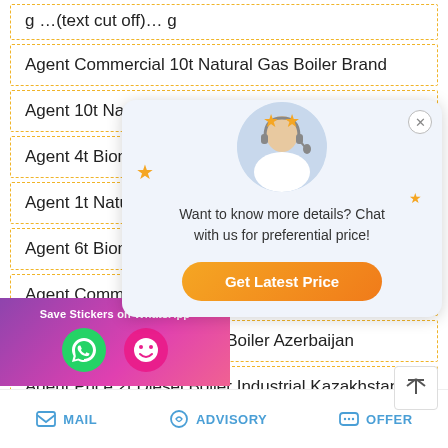Agent Commercial 10t Natural Gas Boiler Brand
Agent 10t Natural Gas Boiler …
Agent 4t Biomass Fired B…
Agent 1t Natural Gas Boil…
Agent 6t Biomass Boiler …
Agent Commercial Atmospheric Pressure Steam
Agent 4 Ton Oil Hot Water Boiler Azerbaijan
Agent Price 2t Diesel Boiler Industrial Kazakhstan
…nsing Boiler Kyrgyzstan
[Figure (other): Chat popup with customer service agent avatar, stars decoration, text 'Want to know more details? Chat with us for preferential price!' and orange 'Get Latest Price' button with close X button]
[Figure (other): WhatsApp/messaging app banner with purple-pink gradient, 'Save Stickers on WhatsApp' text and app icons]
MAIL | ADVISORY | OFFER